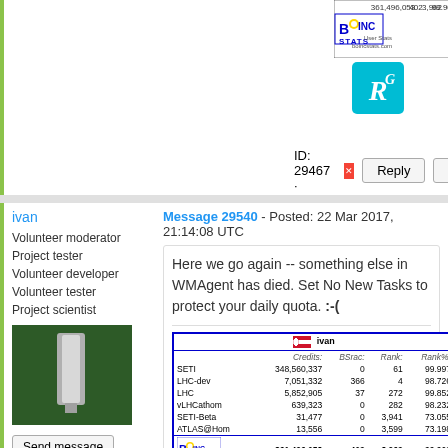[Figure (screenshot): Top of previous post: BOINC stats banner showing 361,496,053 credits, 402 BSrac, 3,962 rank, 99.902 rank%]
[Figure (logo): ResearchGate RG badge in teal]
ID: 29467 ·
Reply | Quote buttons
ivan
Volunteer moderator
Project tester
Volunteer developer
Volunteer tester
Project scientist
[Figure (photo): Avatar photo showing a green circuit board or similar dark green background with a white rectangular object]
Send message
Joined: 29 Aug 05
Posts: 883
Message 29540 - Posted: 22 Mar 2017, 21:14:08 UTC
Here we go again -- something else in WMAgent has died. Set No New Tasks to protect your daily quota. :-(
|  | Credits: | BSrac: | Rank: | Rank%: |
| --- | --- | --- | --- | --- |
| SETI | 348,560,337 | 0 | 61 | 99.997 |
| LHC-dev | 7,051,332 | 366 | 4 | 98.726 |
| LHC | 5,852,905 | 37 | 272 | 99.852 |
| vLHCathom | 639,323 | 0 | 282 | 98.232 |
| SETI-Beta | 31,477 | 0 | 3,941 | 73.055 |
| ATLAS@Hom | 13,556 | 0 | 3,599 | 73.198 |
|  | 361,496,053 | 402 | 3,962 | 99.902 |
[Figure (logo): BOINC Stats logo]
[Figure (logo): ResearchGate RG badge in teal]